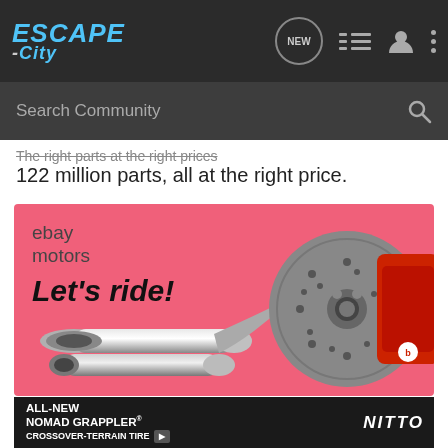ESCAPE-City navigation bar with search
The right parts at the right prices
122 million parts, all at the right price.
[Figure (illustration): eBay Motors advertisement with pink background showing chrome exhaust pipes and a Brembo brake disc/caliper assembly. Text reads: ebay motors / Let's ride!]
[Figure (illustration): Nitto ALL-NEW NOMAD GRAPPLER CROSSOVER-TERRAIN TIRE advertisement strip with dark background and tire imagery]